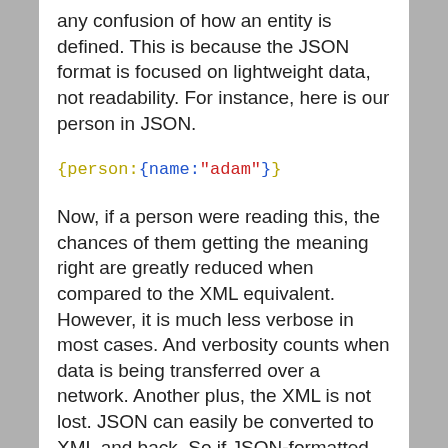any confusion of how an entity is defined. This is because the JSON format is focused on lightweight data, not readability. For instance, here is our person in JSON.
{person:{name:"adam"}}
Now, if a person were reading this, the chances of them getting the meaning right are greatly reduced when compared to the XML equivalent. However, it is much less verbose in most cases. And verbosity counts when data is being transferred over a network. Another plus, the XML is not lost. JSON can easily be converted to XML and back. So if JSON-formatted data must be edited by humans as XML, this is not difficult to achieve.
Here is a simple Python demonstration of reducing the size of XML data with JSON.
#Example; XML string and JSON string
xml_string="""